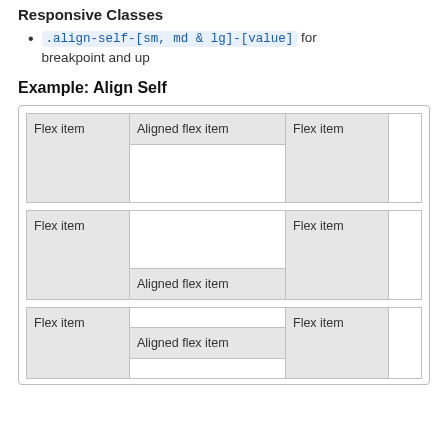Responsive Classes
.align-self-[sm, md & lg]-[value] for breakpoint and up
Example: Align Self
[Figure (illustration): Three flex container rows demonstrating align-self values: first row shows 'Aligned flex item' aligned to start (top), second row shows 'Aligned flex item' aligned to end (bottom), third row shows 'Aligned flex item' aligned to center.]